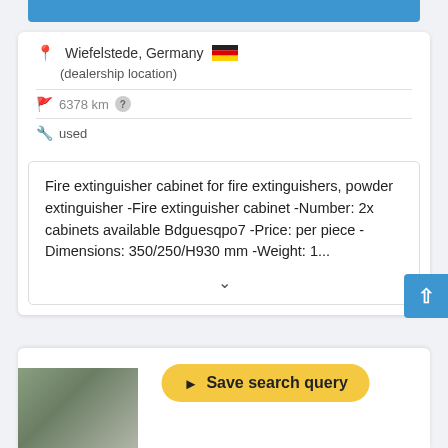[Figure (screenshot): Top blue button bar (partial, cropped at top of page)]
Wiefelstede, Germany 🇩🇪
(dealership location)
6378 km
used
Fire extinguisher cabinet for fire extinguishers, powder extinguisher -Fire extinguisher cabinet -Number: 2x cabinets available Bdguesqpo7 -Price: per piece -Dimensions: 350/250/H930 mm -Weight: 1...
[Figure (screenshot): Scroll-up button (blue square with upward arrow)]
[Figure (screenshot): Save search query button (yellow rounded button) and partial product image at bottom of page]
Save search query